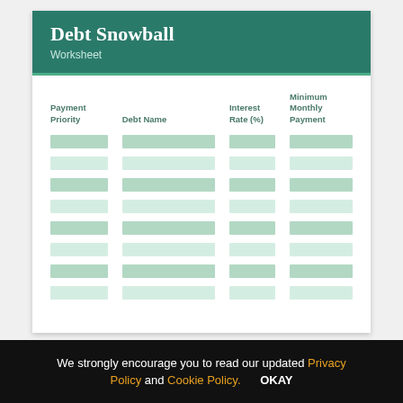Debt Snowball
Worksheet
| Payment Priority | Debt Name | Interest Rate (%) | Minimum Monthly Payment |
| --- | --- | --- | --- |
|  |  |  |  |
|  |  |  |  |
|  |  |  |  |
|  |  |  |  |
|  |  |  |  |
|  |  |  |  |
|  |  |  |  |
|  |  |  |  |
We strongly encourage you to read our updated Privacy Policy and Cookie Policy.    OKAY